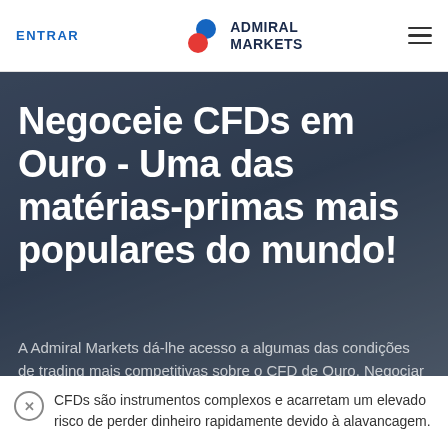ENTRAR | ADMIRAL MARKETS
Negoceie CFDs em Ouro - Uma das matérias-primas mais populares do mundo!
A Admiral Markets dá-lhe acesso a algumas das condições de trading mais competitivas sobre o CFD de Ouro. Negociar CFDs de Ouro é muito fácil...
CFDs são instrumentos complexos e acarretam um elevado risco de perder dinheiro rapidamente devido à alavancagem.